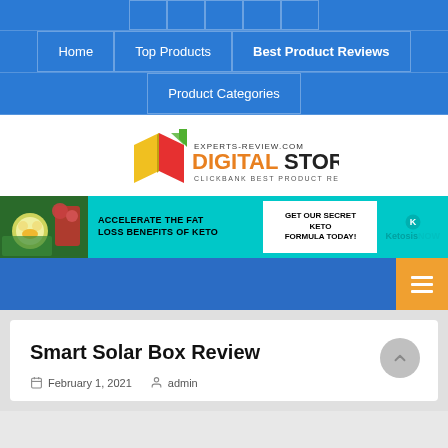Social media icons: Facebook, Twitter, Pinterest, YouTube, LinkedIn
Navigation: Home | Top Products | Best Product Reviews | Product Categories
[Figure (logo): experts-review.com DIGITAL STORE Clickbank Best Product Reviews logo with open book icon]
[Figure (infographic): KetosisNOW banner ad: ACCELERATE THE FAT LOSS BENEFITS OF KETO | GET OUR SECRET KETO FORMULA TODAY! | KetosisNOW]
Mobile navigation bar with hamburger menu button
Smart Solar Box Review
February 1, 2021   admin